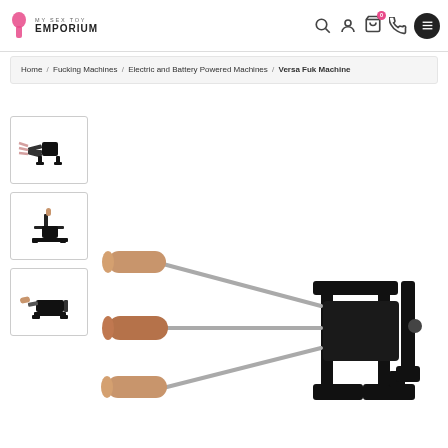My Sex Toy Emporium — navigation header with logo, search, account, cart (0), phone, menu icons
Home / Fucking Machines / Electric and Battery Powered Machines / Versa Fuk Machine
[Figure (photo): Thumbnail 1: Sex machine with multiple attachment arms, black frame, top-down view]
[Figure (photo): Thumbnail 2: Sex machine with single upright attachment, black frame, side view]
[Figure (photo): Thumbnail 3: Sex machine with attachment arm angled, black frame, side view]
[Figure (photo): Main product image: Versa Fuk Machine — black metal frame sex machine with three extending arms holding realistic attachments at different angles]